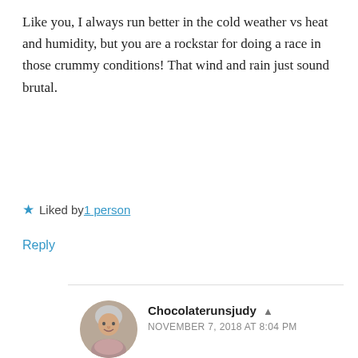Like you, I always run better in the cold weather vs heat and humidity, but you are a rockstar for doing a race in those crummy conditions! That wind and rain just sound brutal.
★ Liked by 1 person
Reply
Chocolaterunsjudy ▲ NOVEMBER 7, 2018 AT 8:04 PM
You really never do know what race day will give you.
A week out the weather looked perfect. And when I told my husband that, his immediate response was